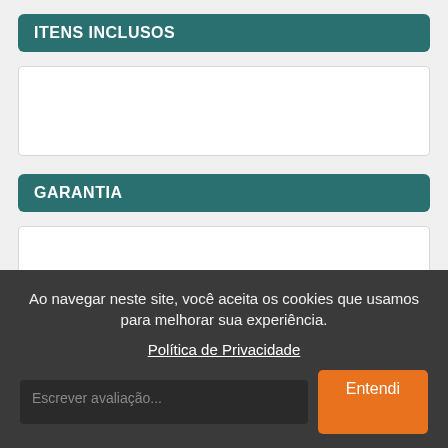ITENS INCLUSOS
GARANTIA
Ao navegar neste site, você aceita os cookies que usamos para melhorar sua experiência.
Política de Privacidade
Escrever avaliação...
Entendi